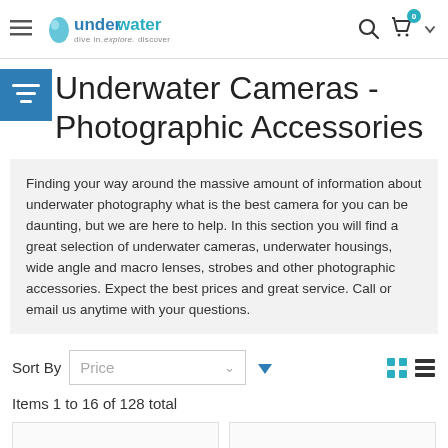underwater - dive in. explore. discover.
Underwater Cameras - Photographic Accessories
Finding your way around the massive amount of information about underwater photography what is the best camera for you can be daunting, but we are here to help. In this section you will find a great selection of underwater cameras, underwater housings, wide angle and macro lenses, strobes and other photographic accessories. Expect the best prices and great service. Call or email us anytime with your questions.
Sort By Price
Items 1 to 16 of 128 total